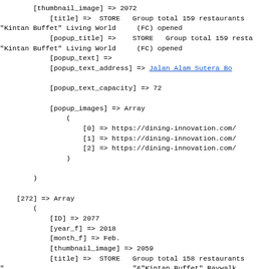Code/data dump showing array structure with store fields including thumbnail_image, title, popup_title, popup_text, popup_text_address, popup_text_capacity, popup_images for entry [272] with ID 2077, year_f 2018, month_f Feb., thumbnail_image 2059, title STORE Group total 158 restaurants Kintan Buffet Baywalk (FC) opened, popup_title, popup_text with address Jl. Pluit Karang Ayu